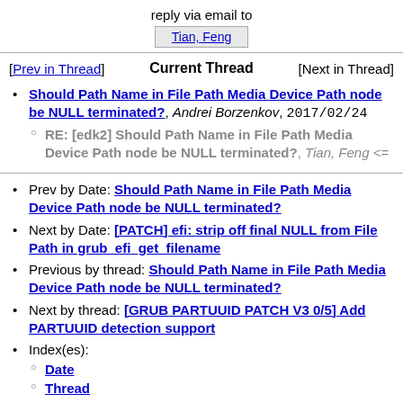reply via email to
Tian, Feng
[Prev in Thread]   Current Thread   [Next in Thread]
Should Path Name in File Path Media Device Path node be NULL terminated?, Andrei Borzenkov, 2017/02/24
RE: [edk2] Should Path Name in File Path Media Device Path node be NULL terminated?, Tian, Feng <=
Prev by Date: Should Path Name in File Path Media Device Path node be NULL terminated?
Next by Date: [PATCH] efi: strip off final NULL from File Path in grub_efi_get_filename
Previous by thread: Should Path Name in File Path Media Device Path node be NULL terminated?
Next by thread: [GRUB PARTUUID PATCH V3 0/5] Add PARTUUID detection support
Index(es):
Date
Thread